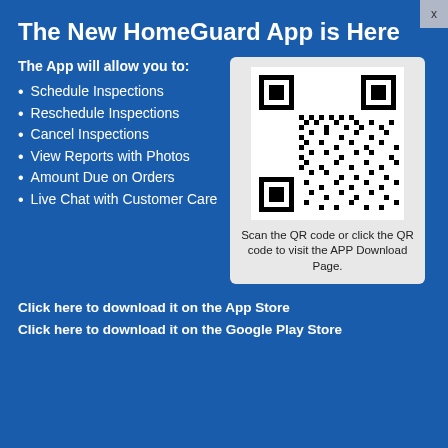The New HomeGuard App is Here
The App will allow you to:
Schedule Inspections
Reschedule Inspections
Cancel Inspections
View Reports with Photos
Amount Due on Orders
Live Chat with Customer Care
[Figure (other): QR code for HomeGuard App download page]
Scan the QR code or click the QR code to visit the APP Download Page.
Click here to download it on the App Store
Click here to download it on the Google Play Store